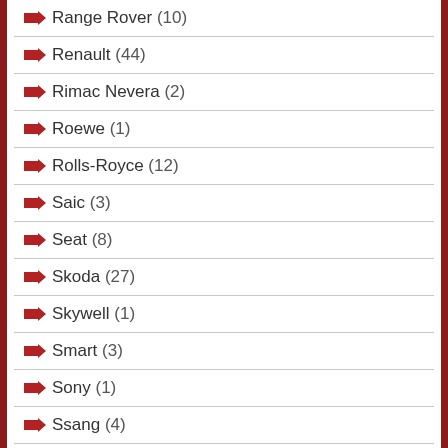Range Rover (10)
Renault (44)
Rimac Nevera (2)
Roewe (1)
Rolls-Royce (12)
Saic (3)
Seat (8)
Skoda (27)
Skywell (1)
Smart (3)
Sony (1)
Ssang (4)
SSC Tuatara (1)
Subaru (19)